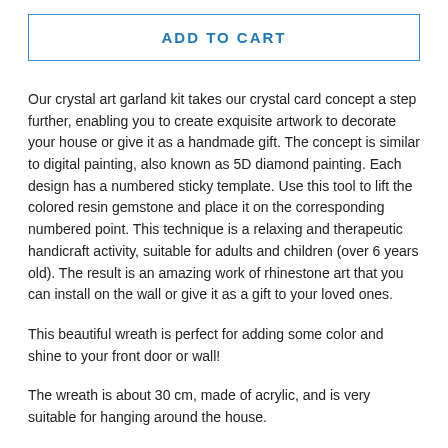ADD TO CART
Our crystal art garland kit takes our crystal card concept a step further, enabling you to create exquisite artwork to decorate your house or give it as a handmade gift. The concept is similar to digital painting, also known as 5D diamond painting. Each design has a numbered sticky template. Use this tool to lift the colored resin gemstone and place it on the corresponding numbered point. This technique is a relaxing and therapeutic handicraft activity, suitable for adults and children (over 6 years old). The result is an amazing work of rhinestone art that you can install on the wall or give it as a gift to your loved ones.
This beautiful wreath is perfect for adding some color and shine to your front door or wall!
The wreath is about 30 cm, made of acrylic, and is very suitable for hanging around the house.